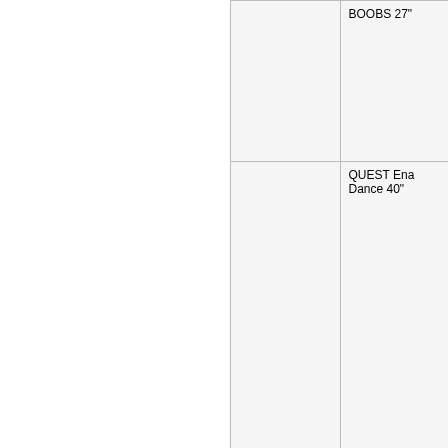|  | BOOBS 27" |
|  | QUEST Ena Dance 40" |
Displaying 1 to 34 (of 34 products)
info@dirtcorner.com / dirtcorner@gmail.com Tel: 339.3552199
Dirt Corner - Via Aietta, 13 - 59016 - Poggio a Caiano (PO) Italy - P.IVA IT00216988881 - C.F. KRKKRN72E53G999T
Copyright © 2022 Dirt Corner
Powered by osCommerce